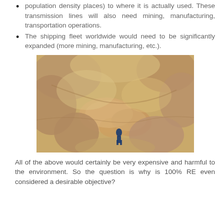population density places) to where it is actually used. These transmission lines will also need mining, manufacturing, transportation operations.
The shipping fleet worldwide would need to be significantly expanded (more mining, manufacturing, etc.).
[Figure (photo): Aerial or elevated view of an open-pit mining site showing sandy/rocky terrain with a person standing in the center near muddy water pools.]
All of the above would certainly be very expensive and harmful to the environment. So the question is why is 100% RE even considered a desirable objective?